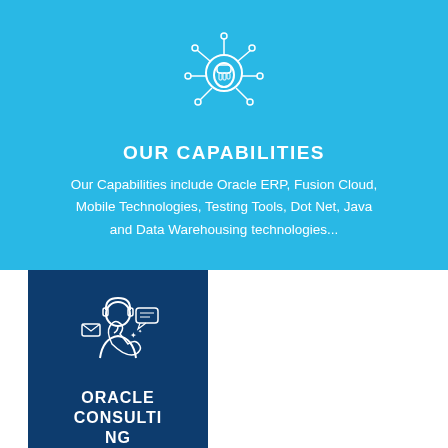[Figure (illustration): White line icon of a fist with network/connection nodes radiating outward on a blue background]
OUR CAPABILITIES
Our Capabilities include Oracle ERP, Fusion Cloud, Mobile Technologies, Testing Tools, Dot Net, Java and Data Warehousing technologies...
[Figure (illustration): White line icon of a customer service agent with headset, email envelope, and communication icons on a dark blue background]
ORACLE CONSULTING
Our